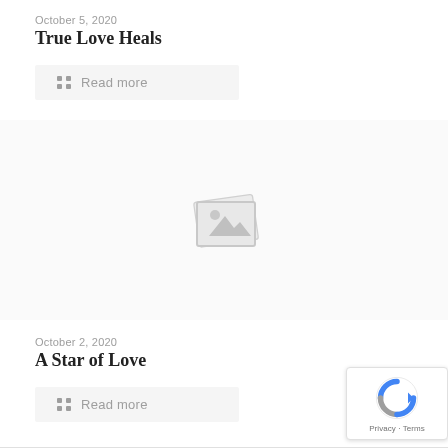October 5, 2020
True Love Heals
Read more
[Figure (illustration): Placeholder image icon with a gray mountain/photo symbol indicating missing or loading image]
October 2, 2020
A Star of Love
Read more